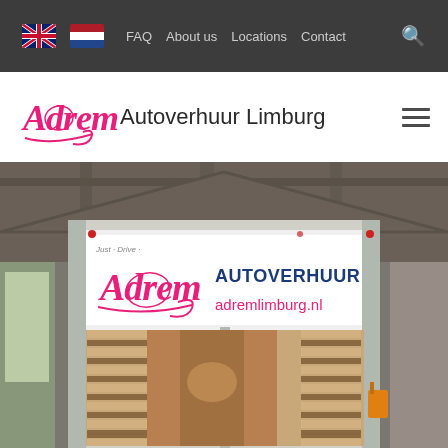FAQ  About us  Locations  Contact
Adrem Autoverhuur Limburg
[Figure (photo): Open back of a large Adrem Autoverhuur truck showing wooden slat interior walls, photographed inside a warehouse. The truck tailgate/signboard reads 'ADREM AUTOVERHUUR adremlimburg.nl' with the Adrem logo in pink.]